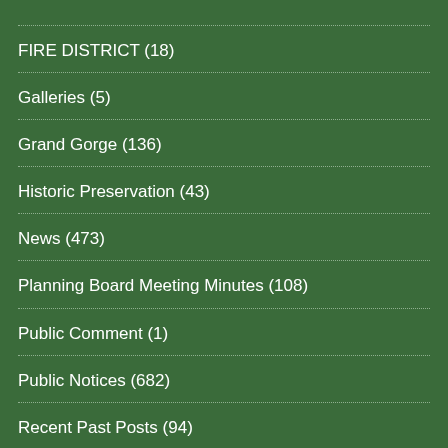FIRE DISTRICT (18)
Galleries (5)
Grand Gorge (136)
Historic Preservation (43)
News (473)
Planning Board Meeting Minutes (108)
Public Comment (1)
Public Notices (682)
Recent Past Posts (94)